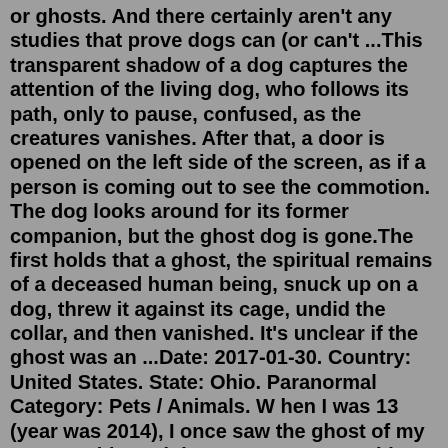or ghosts. And there certainly aren't any studies that prove dogs can (or can't ...This transparent shadow of a dog captures the attention of the living dog, who follows its path, only to pause, confused, as the creatures vanishes. After that, a door is opened on the left side of the screen, as if a person is coming out to see the commotion. The dog looks around for its former companion, but the ghost dog is gone.The first holds that a ghost, the spiritual remains of a deceased human being, snuck up on a dog, threw it against its cage, undid the collar, and then vanished. It's unclear if the ghost was an ...Date: 2017-01-30. Country: United States. State: Ohio. Paranormal Category: Pets / Animals. W hen I was 13 (year was 2014), I once saw the ghost of my 12 year old corgi dog. Her name was Abbey. I grew up with Abbey but in 2013, she passed away of a heart attack. One night, I was just about to go to bed. I was walking to my light switch in my ...Ghost Dogs of Moon Lake is based on two books, Ghost Dogs of Whispering Oaks and Mystery